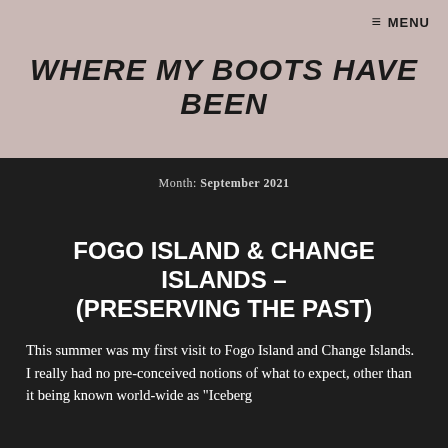≡ MENU
WHERE MY BOOTS HAVE BEEN
Month: September 2021
FOGO ISLAND & CHANGE ISLANDS – (PRESERVING THE PAST)
This summer was my first visit to Fogo Island and Change Islands. I really had no pre-conceived notions of what to expect, other than it being known world-wide as "Iceberg